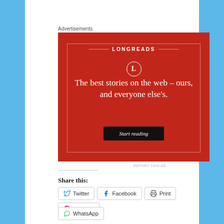Advertisements
[Figure (illustration): Longreads advertisement: red background with white circle logo containing 'L', brand name 'LONGREADS', decorative horizontal rules, tagline 'The best stories on the web – ours, and everyone else's.', and a 'Start reading' button.]
REPORT THIS AD
Share this:
Twitter Facebook Print Pinterest WhatsApp